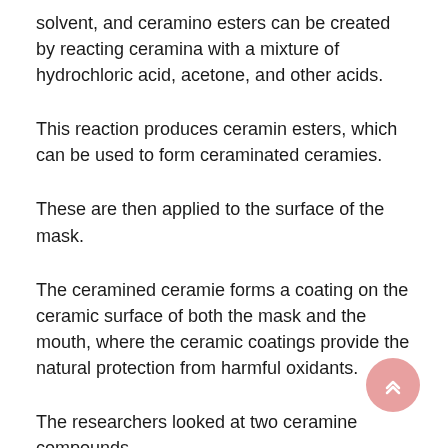solvent, and ceramino esters can be created by reacting ceramina with a mixture of hydrochloric acid, acetone, and other acids.
This reaction produces ceramin esters, which can be used to form ceraminated ceramies.
These are then applied to the surface of the mask.
The ceramined ceramie forms a coating on the ceramic surface of both the mask and the mouth, where the ceramic coatings provide the natural protection from harmful oxidants.
The researchers looked at two ceramine compounds